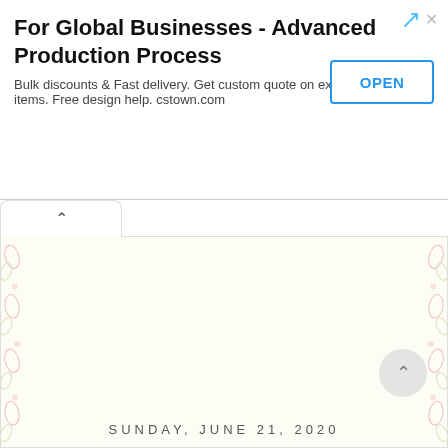[Figure (screenshot): Advertisement banner: 'For Global Businesses - Advanced Production Process' with OPEN button and tagline about bulk discounts and cstown.com]
[Figure (illustration): Document page with decorative floral border on left and right sides, mostly blank content area, with a scroll-to-top button]
SUNDAY, JUNE 21, 2020